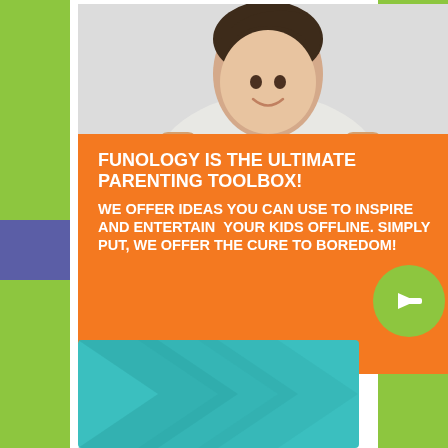[Figure (infographic): Funology advertisement: a smiling woman with short dark hair leaning on an orange sign. Orange box contains white uppercase text: 'FUNOLOGY IS THE ULTIMATE PARENTING TOOLBOX! WE OFFER IDEAS YOU CAN USE TO INSPIRE AND ENTERTAIN YOUR KIDS OFFLINE. SIMPLY PUT, WE OFFER THE CURE TO BOREDOM!' with a green circular arrow button.]
[Figure (infographic): Teal/turquoise colored card with decorative chevron/arrow patterns, partially visible at bottom of page.]